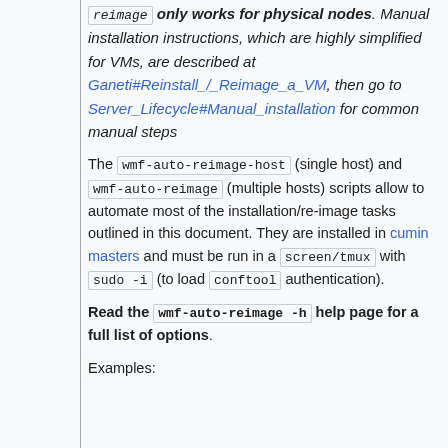reimage only works for physical nodes. Manual installation instructions, which are highly simplified for VMs, are described at Ganeti#Reinstall_/_Reimage_a_VM, then go to Server_Lifecycle#Manual_installation for common manual steps
The wmf-auto-reimage-host (single host) and wmf-auto-reimage (multiple hosts) scripts allow to automate most of the installation/re-image tasks outlined in this document. They are installed in cumin masters and must be run in a screen/tmux with sudo -i (to load conftool authentication).
Read the wmf-auto-reimage -h help page for a full list of options.
Examples: